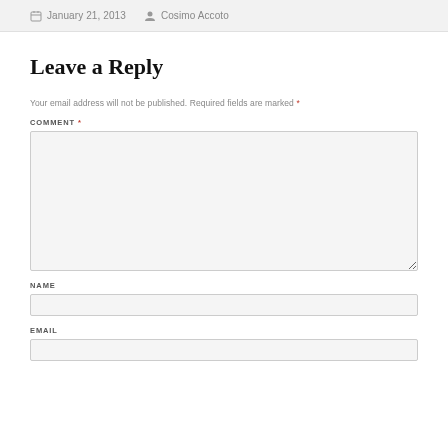January 21, 2013   Cosimo Accoto
Leave a Reply
Your email address will not be published. Required fields are marked *
COMMENT *
NAME
EMAIL